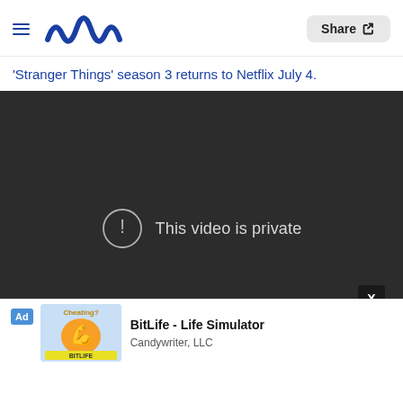Meaww | Share
'Stranger Things' season 3 returns to Netflix July 4.
[Figure (screenshot): Embedded video player showing 'This video is private' error message on dark background, with an ad overlay at the bottom for 'BitLife - Life Simulator' by Candywriter, LLC]